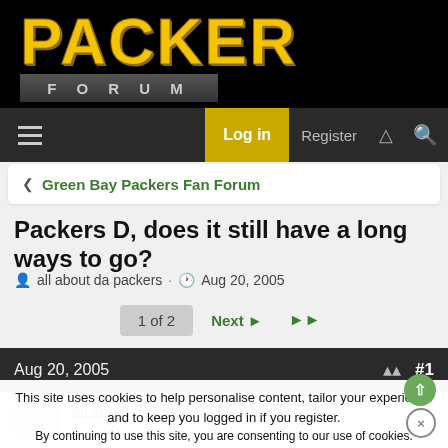PACKER FORUM
Log in  Register
< Green Bay Packers Fan Forum
Packers D, does it still have a long ways to go?
all about da packers · Aug 20, 2005
1 of 2  Next ▶  ▶▶
Aug 20, 2005  #1
all about da packers
This site uses cookies to help personalise content, tailor your experience and to keep you logged in if you register.
By continuing to use this site, you are consenting to our use of cookies.